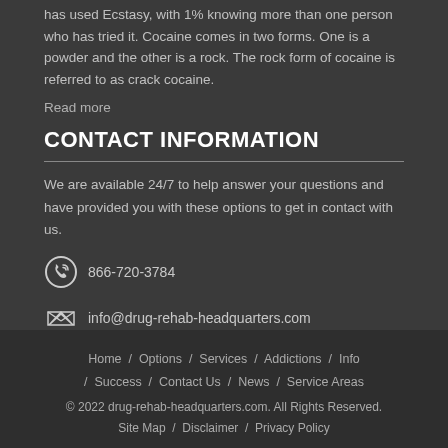has used Ecstasy, with 1% knowing more than one person who has tried it. Cocaine comes in two forms. One is a powder and the other is a rock. The rock form of cocaine is referred to as crack cocaine.
Read more
CONTACT INFORMATION
We are available 24/7 to help answer your questions and have provided you with these options to get in contact with us.
866-720-3784
info@drug-rehab-headquarters.com
Home / Options / Services / Addictions / Info / Success / Contact Us / News / Service Areas
© 2022 drug-rehab-headquarters.com. All Rights Reserved.
Site Map / Disclaimer / Privacy Policy